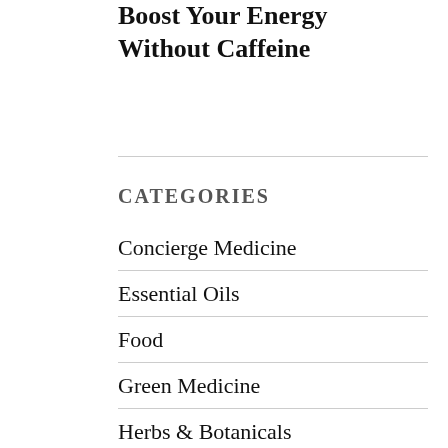Boost Your Energy Without Caffeine
CATEGORIES
Concierge Medicine
Essential Oils
Food
Green Medicine
Herbs & Botanicals
Menopause
News